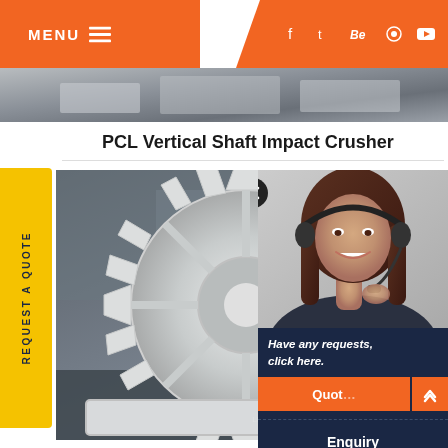MENU ≡
[Figure (screenshot): Website header with orange menu button on left, social media icons (f, twitter, Be, pinterest, youtube) on right on orange background]
[Figure (photo): Industrial equipment photo strip showing machinery]
PCL Vertical Shaft Impact Crusher
[Figure (photo): Large white gear/impeller component of PCL Vertical Shaft Impact Crusher in industrial setting with LIMING HEAVY watermark]
[Figure (photo): Customer service operator woman with headset smiling, overlaid with text: Have any requests, click here. Quote button and Enquiry and drobilkalm navigation options on dark blue panel]